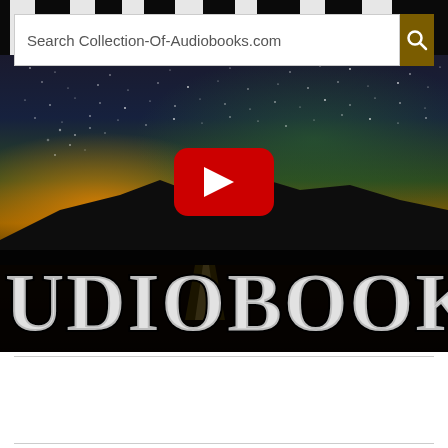[Figure (screenshot): Search bar for Collection-Of-Audiobooks.com with a brown/gold search button containing a magnifying glass icon, overlaid on a video thumbnail of a night sky scene with stars, Milky Way, lake reflection, mountains silhouette, and large text reading 'AUDIOBOOKS' in decorative font. A YouTube play button (red rectangle with white triangle) is centered on the thumbnail.]
Search Collection-Of-Audiobooks.com